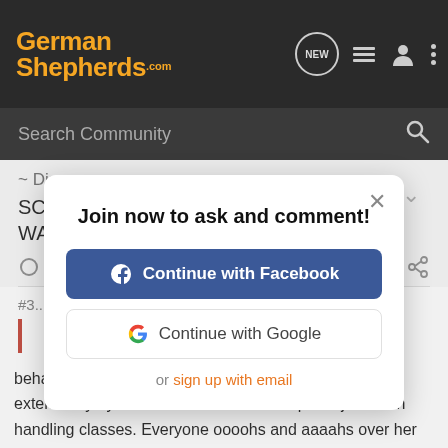[Figure (screenshot): GermanShepherds.com website header with logo, search bar, and navigation icons]
~ Diane ~
SCARLET ..... CH LAUREMI'S ALMOST WASN'T (AKC Group
Reply  Quote
Join now to ask and comment!
Continue with Facebook
Continue with Google
or sign up with email
behaviorist several times, and has also been worked extensively by a local handler and a couple of juniors in handling classes. Everyone oooohs and aaaahs over her because the dog is stunning, but she is